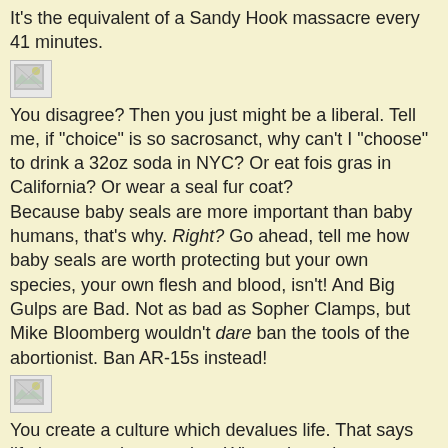It's the equivalent of a Sandy Hook massacre every 41 minutes.
[Figure (other): Broken/missing image placeholder]
You disagree? Then you just might be a liberal. Tell me, if "choice" is so sacrosanct, why can't I "choose" to drink a 32oz soda in NYC? Or eat fois gras in California? Or wear a seal fur coat?
Because baby seals are more important than baby humans, that's why. Right? Go ahead, tell me how baby seals are worth protecting but your own species, your own flesh and blood, isn't! And Big Gulps are Bad. Not as bad as Sopher Clamps, but Mike Bloomberg wouldn't dare ban the tools of the abortionist. Ban AR-15s instead!
[Figure (other): Broken/missing image placeholder]
You create a culture which devalues life. That says life is not worth protecting. Where the unborn are disposable. And children are an inconvenience.
[Figure (other): Broken/missing image placeholder]
Then you wonder why a guy walks into an elementary school and opens fire.